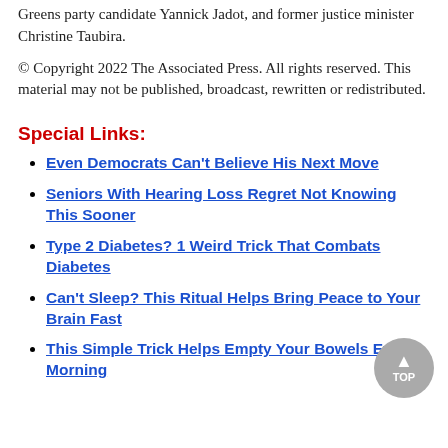Greens party candidate Yannick Jadot, and former justice minister Christine Taubira.
© Copyright 2022 The Associated Press. All rights reserved. This material may not be published, broadcast, rewritten or redistributed.
Special Links:
Even Democrats Can't Believe His Next Move
Seniors With Hearing Loss Regret Not Knowing This Sooner
Type 2 Diabetes? 1 Weird Trick That Combats Diabetes
Can't Sleep? This Ritual Helps Bring Peace to Your Brain Fast
This Simple Trick Helps Empty Your Bowels Every Morning